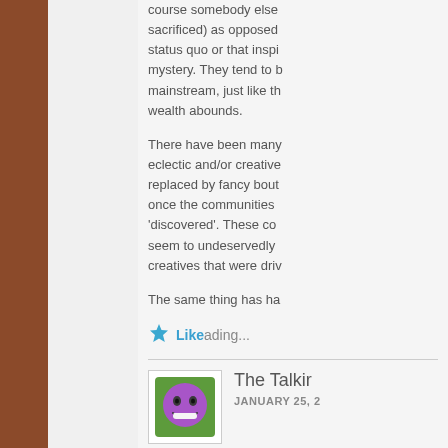course somebody else sacrificed) as opposed status quo or that inspi mystery. They tend to b mainstream, just like th wealth abounds.
There have been many eclectic and/or creative replaced by fancy bout once the communities 'discovered'. These co seem to undeservedly creatives that were driv
The same thing has ha
Like Loading...
The Talki JANUARY 25, 2
While I am m